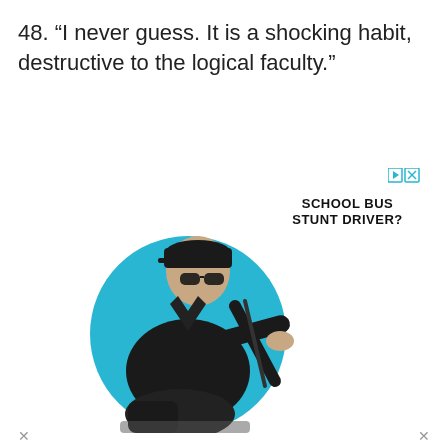48. “I never guess. It is a shocking habit, destructive to the logical faculty.”
[Figure (photo): Advertisement showing a man in a black jacket, sunglasses, and black cap sitting and gripping a steering wheel, with a large blue circle behind him. Text reads 'SCHOOL BUS STUNT DRIVER?' with ad control icons (play and close buttons) in the top right.]